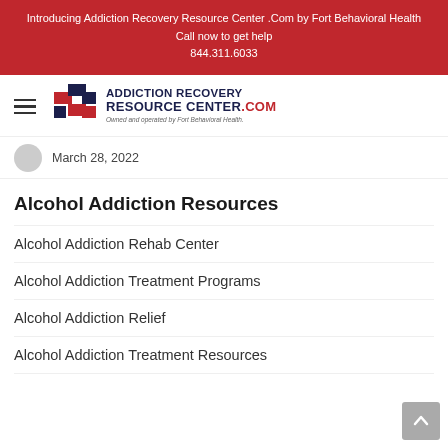Introducing Addiction Recovery Resource Center .Com by Fort Behavioral Health
Call now to get help
844.311.6033
[Figure (logo): Addiction Recovery Resource Center .com logo with hamburger menu icon. Owned and operated by Fort Behavioral Health.]
March 28, 2022
Alcohol Addiction Resources
Alcohol Addiction Rehab Center
Alcohol Addiction Treatment Programs
Alcohol Addiction Relief
Alcohol Addiction Treatment Resources